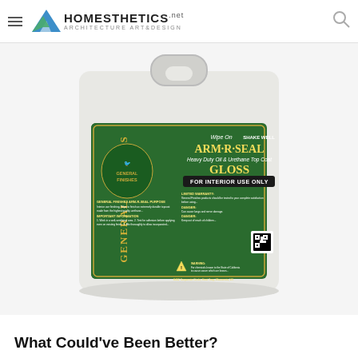HOMESTHETICS.net — ARCHITECTURE ART&DESIGN
[Figure (photo): Large white plastic gallon jug of General Finishes ARM·R·SEAL Heavy Duty Oil & Urethane Top Coat, Gloss, For Interior Use Only. The label is dark green with yellow text showing product details, instructions, warnings, and a QR code on the right side. The container has a large handle at the top.]
What Could've Been Better?